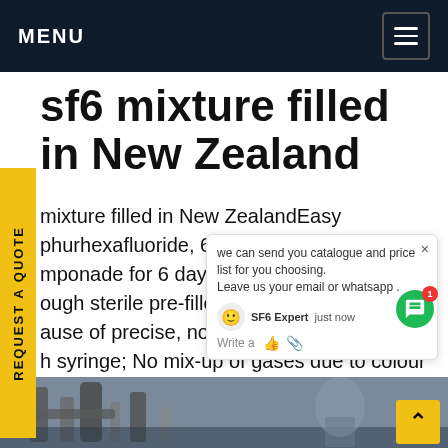MENU
sf6 mixture filled in New Zealand
mixture filled in New ZealandEasy phurhexafluoride, 60ml syringe, e mponade for 6 days. Quick and ec ough sterile pre-filled system; Sa ause of precise, non-expanding o in h syringe; No mix-up of gases due to colour ling; Three gases for different tamponade ationsGet price
[Figure (screenshot): Live chat popup showing message: 'we can send you catalogue and price list for you choosing. Leave us your email or whatsapp .' with SF6 Expert agent avatar and 'just now' timestamp, and a green chat button with notification badge showing 1.]
[Figure (photo): Industrial equipment photo showing pipes and machinery in a dark industrial setting.]